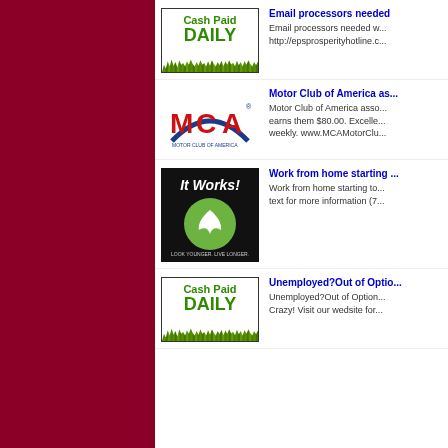[Figure (illustration): Dark crimson/maroon vertical sidebar on left portion of page]
[Figure (illustration): Cash Paid DAILY advertisement image with green text and grass border]
Email processors needed
Email processors needed w... http://epsprosperityhotline.c...
[Figure (logo): MCA Motor Club of America logo]
Motor Club of America as...
Motor Club of America asso... earns them $80.00. Excelle... weekly. www.MCAMotorClu...
[Figure (logo): It Works! Look Younger. Live Longer. logo on black background]
Work from home starting ...
Work from home starting to... text for more information (7...
[Figure (illustration): Cash Paid DAILY advertisement image with green text and grass border]
Unemployed?Out of Optio...
Unemployed?Out of Option... Crazy! Visit our wedsite for...